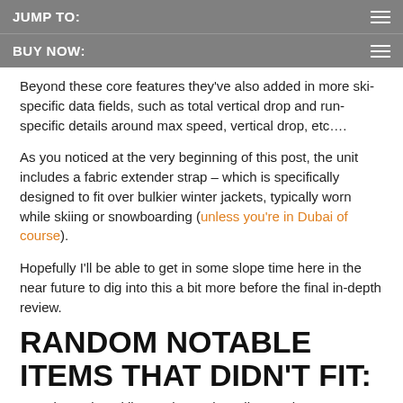JUMP TO:
BUY NOW:
Beyond these core features they've also added in more ski-specific data fields, such as total vertical drop and run-specific details around max speed, vertical drop, etc….
As you noticed at the very beginning of this post, the unit includes a fabric extender strap – which is specifically designed to fit over bulkier winter jackets, typically worn while skiing or snowboarding (unless you're in Dubai of course).
Hopefully I'll be able to get in some slope time here in the near future to dig into this a bit more before the final in-depth review.
RANDOM NOTABLE ITEMS THAT DIDN'T FIT:
Garmin Fenix2 Skiing and Snowboarding Mode